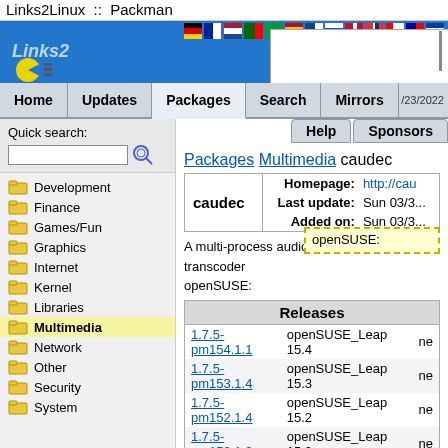Links2Linux :: Packman
[Figure (screenshot): Website banner with flags and Packman logo on blue background]
Home | Updates | Packages | Search | Mirrors
Quick search:
Development
Finance
Games/Fun
Graphics
Internet
Kernel
Libraries
Multimedia
Network
Other
Security
System
Packages Multimedia caudec
|  | Homepage: | Last update: | Added on: |
| --- | --- | --- | --- |
| caudec | http://cau... | Sun 03/3... | Sun 03/3... |
A multi-process audio transcoder openSUSE:
| Releases |  |  |
| --- | --- | --- |
| 1.7.5-pm154.1.1 | openSUSE_Leap 15.4 | ne |
| 1.7.5-pm153.1.4 | openSUSE_Leap 15.3 | ne |
| 1.7.5-pm152.1.4 | openSUSE_Leap 15.2 | ne |
| 1.7.5-pm152.1.3 | openSUSE_Leap 15.2 | ne |
| 1.7.5-pm151.1.2 | openSUSE_Leap 15.1 | ne |
| 1.7.5-lp150.1.3 | openSUSE_Leap 15.0 | ne |